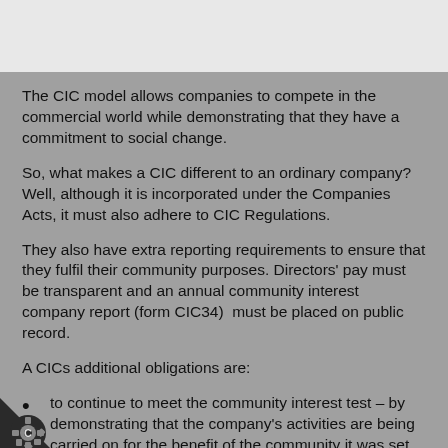The CIC model allows companies to compete in the commercial world while demonstrating that they have a commitment to social change.
So, what makes a CIC different to an ordinary company? Well, although it is incorporated under the Companies Acts, it must also adhere to CIC Regulations.
They also have extra reporting requirements to ensure that they fulfil their community purposes. Directors' pay must be transparent and an annual community interest company report (form CIC34)  must be placed on public record.
A CICs additional obligations are:
to continue to meet the community interest test – by demonstrating that the company's activities are being carried on for the benefit of the community it was set up to serve
adopt certain statutory clauses in its constitution (this includes a clause to lock in the assets to providing benefit